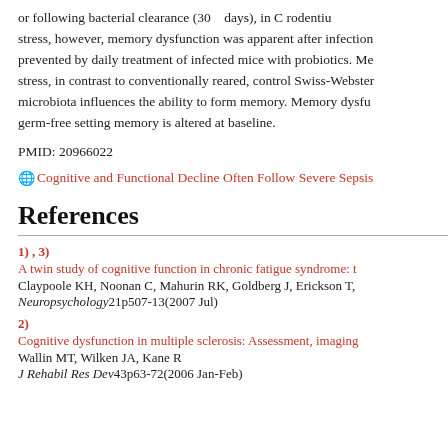or following bacterial clearance (30 days), in C rodentiu stress, however, memory dysfunction was apparent after infection prevented by daily treatment of infected mice with probiotics. Me stress, in contrast to conventionally reared, control Swiss-Webster microbiota influences the ability to form memory. Memory dysfu germ-free setting memory is altered at baseline.
PMID: 20966022
🌐 Cognitive and Functional Decline Often Follow Severe Sepsis
References
1) , 3)
A twin study of cognitive function in chronic fatigue syndrome: t
Claypoole KH, Noonan C, Mahurin RK, Goldberg J, Erickson T,
Neuropsychology21p507-13(2007 Jul)
2)
Cognitive dysfunction in multiple sclerosis: Assessment, imaging
Wallin MT, Wilken JA, Kane R
J Rehabil Res Dev43p63-72(2006 Jan-Feb)